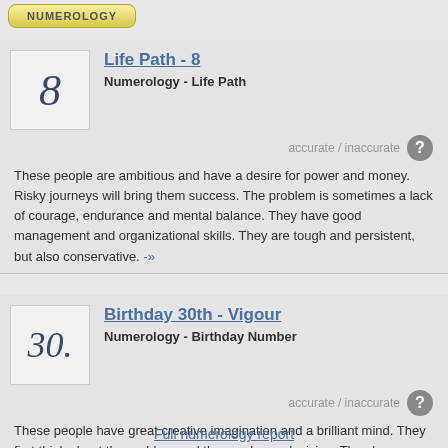NUMEROLOGY
Life Path - 8
Numerology - Life Path
accurate / inaccurate
These people are ambitious and have a desire for power and money. Risky journeys will bring them success. The problem is sometimes a lack of courage, endurance and mental balance. They have good management and organizational skills. They are tough and persistent, but also conservative. -»
Birthday 30th - Vigour
Numerology - Birthday Number
accurate / inaccurate
These people have great creative imagination and a brilliant mind. They first think about the problem and then makes a decision. They have radical views on life. They are inventive. They are charming. -»
Full numerology report